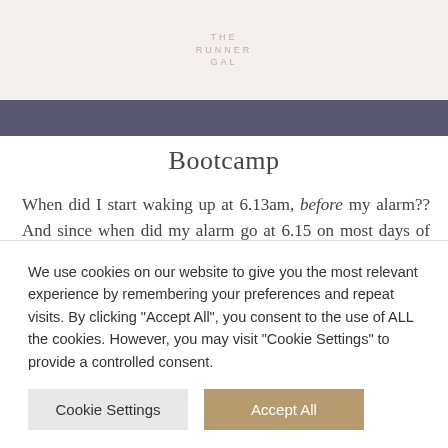THE RUNNER GAL
Bootcamp
When did I start waking up at 6.13am, before my alarm?? And since when did my alarm go at 6.15 on most days of the week?
Well, this week, it's been set that extra bit earlier so that I am up in time to go to Bootcamp. My friend Emma was trying out a new bootcamp in the park near my house, and
We use cookies on our website to give you the most relevant experience by remembering your preferences and repeat visits. By clicking "Accept All", you consent to the use of ALL the cookies. However, you may visit "Cookie Settings" to provide a controlled consent.